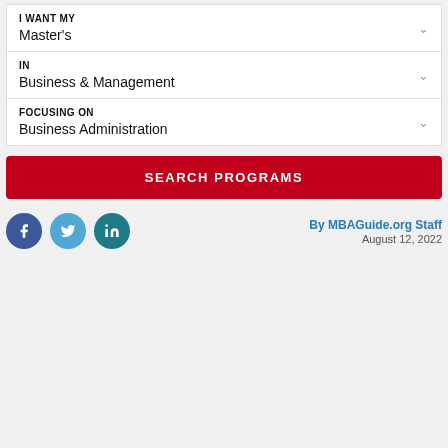I WANT MY
Master's
IN
Business & Management
FOCUSING ON
Business Administration
SEARCH PROGRAMS
By MBAGuide.org Staff
August 12, 2022